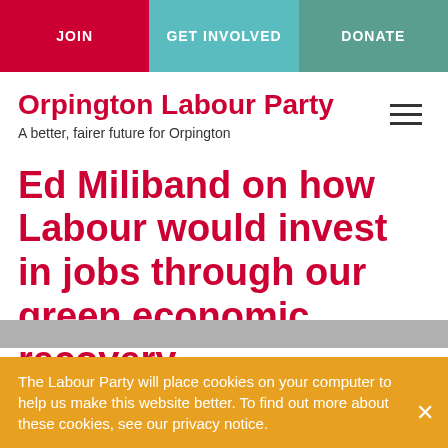JOIN | GET INVOLVED | DONATE
Orpington Labour Party
A better, fairer future for Orpington
Ed Miliband on how Labour would invest in jobs through our green economic recovery
The Labour Party will place cookies on your computer to help us make this website better. To find out more about these cookies, see our privacy notice.